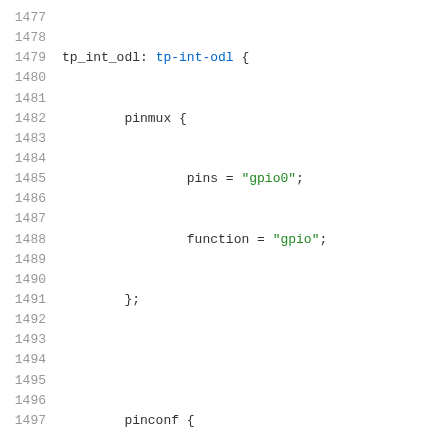[Figure (other): Source code listing in a device tree or similar configuration language, showing lines 1477-1497. Contains tp_int_odl and ts_int_l node definitions with pinmux and pinconf blocks, pin assignments, and a comment about external pullup.]